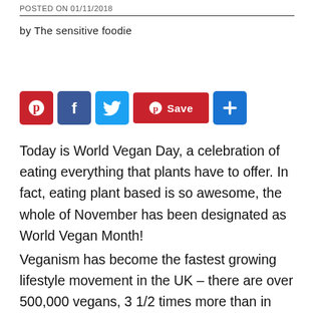POSTED ON 01/11/2018
by The sensitive foodie
[Figure (infographic): Social sharing icons: Pinterest (red), Facebook (blue), Twitter (light blue), Pinterest Save button (red), and a blue plus/share button]
Today is World Vegan Day, a celebration of eating everything that plants have to offer. In fact, eating plant based is so awesome, the whole of November has been designated as World Vegan Month!
Veganism has become the fastest growing lifestyle movement in the UK – there are over 500,000 vegans, 3 1/2 times more than in 2006. Campaigns such as Veganuary and Meatless Monday have raised awareness and as more research reveals the damage caused by our Western diet, many are